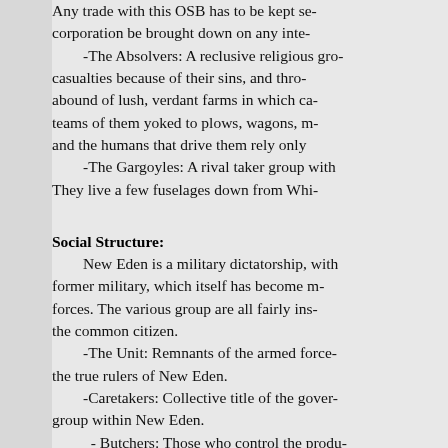Any trade with this OSB has to be kept se- corporation be brought down on any inte-
-The Absolvers: A reclusive religious gro- casualties because of their sins, and thro- abound of lush, verdant farms in which ca- teams of them yoked to plows, wagons, m- and the humans that drive them rely only
-The Gargoyles: A rival taker group with They live a few fuselages down from Whi-
Social Structure:
New Eden is a military dictatorship, with former military, which itself has become m- forces. The various group are all fairly ins- the common citizen.
-The Unit: Remnants of the armed force- the true rulers of New Eden.
-Caretakers: Collective title of the gover- group within New Eden.
- Butchers: Those who control the produ-
-Whitecoats: Doctors, EMTs and other m-
-The Voice: The middle class, those res-
-Stock: Derogatory term for the teeming for cleaning up the messes made by the p- pits of slain casualties.
-The Family: Underground movement w-